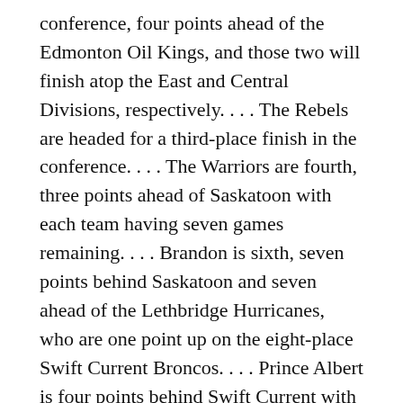conference, four points ahead of the Edmonton Oil Kings, and those two will finish atop the East and Central Divisions, respectively. . . . The Rebels are headed for a third-place finish in the conference. . . . The Warriors are fourth, three points ahead of Saskatoon with each team having seven games remaining. . . . Brandon is sixth, seven points behind Saskatoon and seven ahead of the Lethbridge Hurricanes, who are one point up on the eight-place Swift Current Broncos. . . . Prince Albert is four points behind Swift Current with the Raiders holding two games in hand. . . . Calgary is five points out of a playoff spot, while Regina trails Swift Current by six points. . . .